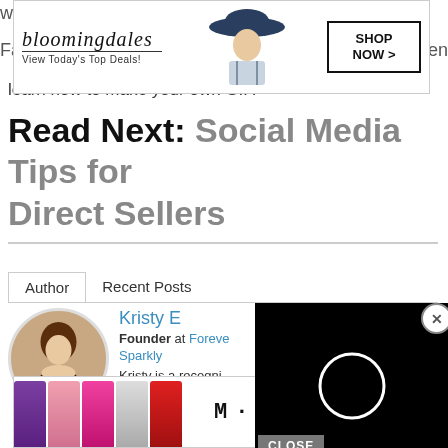[Figure (screenshot): Bloomingdale's advertisement banner: logo with 'bloomingdales' in italic serif font, 'View Today's Top Deals!' tagline, model with wide-brim hat, and 'SHOP NOW >' button]
learn how to make your own GIF.
Read Next: Social Media Tips for Direct Sellers
Author   Recent Posts
[Figure (photo): Circular profile photo of Kristy E, a woman with brown hair wearing a black top]
Kristy E
Founder at Forever Sparkly
Kristy is a recognized founder of Forever Sparkly. Her direct sales advice has been featured on CinchShare, Sassy Suite, and more. She enjoys helping other direct sellers master their social media
[Figure (screenshot): Black video player overlay with loading circle indicator and CLOSE button]
[Figure (screenshot): MAC cosmetics advertisement with lipsticks, MAC logo, and SHOP NOW button]